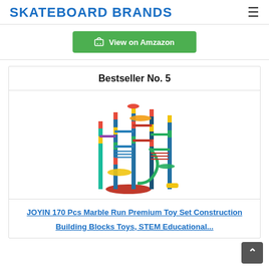SKATEBOARD BRANDS
[Figure (screenshot): Green 'View on Amzazon' button with shopping cart icon]
Bestseller No. 5
[Figure (photo): JOYIN 170 Pcs Marble Run toy set - colorful construction building blocks with tracks, tubes, and marble run components]
JOYIN 170 Pcs Marble Run Premium Toy Set Construction Building Blocks Toys, STEM Educational...